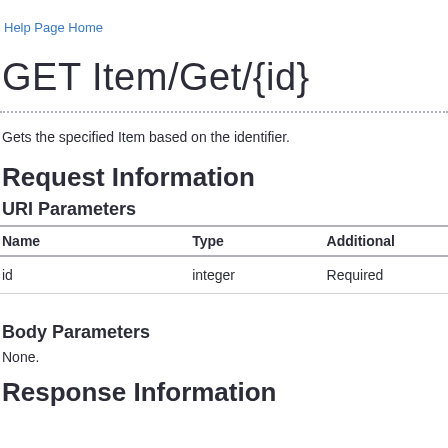Help Page Home
GET Item/Get/{id}
Gets the specified Item based on the identifier.
Request Information
URI Parameters
| Name | Type | Additional information |
| --- | --- | --- |
| id | integer | Required |
Body Parameters
None.
Response Information